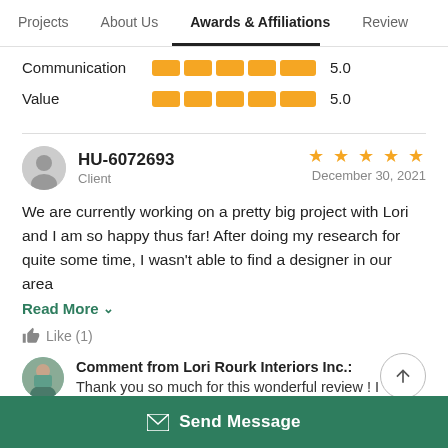Projects  About Us  Awards & Affiliations  Review
Communication  5.0
Value  5.0
HU-6072693
Client
★★★★★
December 30, 2021
We are currently working on a pretty big project with Lori and I am so happy thus far! After doing my research for quite some time, I wasn't able to find a designer in our area
Read More ∨
Like (1)
Comment from Lori Rourk Interiors Inc.: Thank you so much for this wonderful review ! I
Send Message